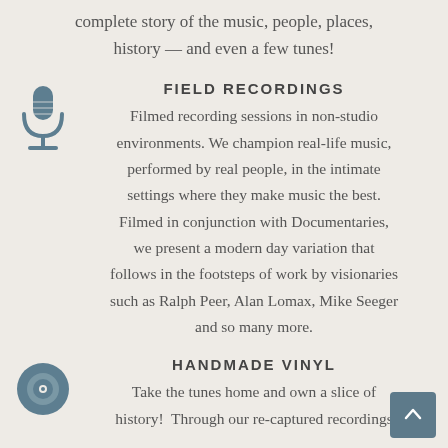complete story of the music, people, places, history — and even a few tunes!
[Figure (illustration): Microphone icon in muted teal/steel blue color]
FIELD RECORDINGS
Filmed recording sessions in non-studio environments. We champion real-life music, performed by real people, in the intimate settings where they make music the best. Filmed in conjunction with Documentaries, we present a modern day variation that follows in the footsteps of work by visionaries such as Ralph Peer, Alan Lomax, Mike Seeger and so many more.
[Figure (illustration): Vinyl record / circle icon in muted teal/steel blue color]
HANDMADE VINYL
Take the tunes home and own a slice of history!  Through our re-captured recordings